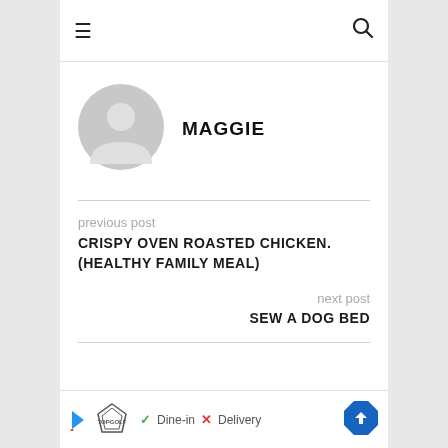≡  🔍
[Figure (illustration): Generic gray user avatar circle icon]
MAGGIE
previous post
CRISPY OVEN ROASTED CHICKEN. (HEALTHY FAMILY MEAL)
next post
SEW A DOG BED
Topgolf ad: Dine-in  X Delivery